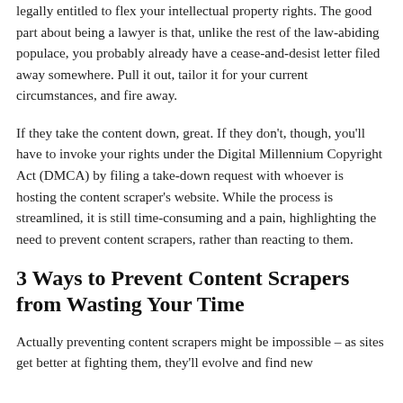legally entitled to flex your intellectual property rights. The good part about being a lawyer is that, unlike the rest of the law-abiding populace, you probably already have a cease-and-desist letter filed away somewhere. Pull it out, tailor it for your current circumstances, and fire away.
If they take the content down, great. If they don't, though, you'll have to invoke your rights under the Digital Millennium Copyright Act (DMCA) by filing a take-down request with whoever is hosting the content scraper's website. While the process is streamlined, it is still time-consuming and a pain, highlighting the need to prevent content scrapers, rather than reacting to them.
3 Ways to Prevent Content Scrapers from Wasting Your Time
Actually preventing content scrapers might be impossible – as sites get better at fighting them, they'll evolve and find new